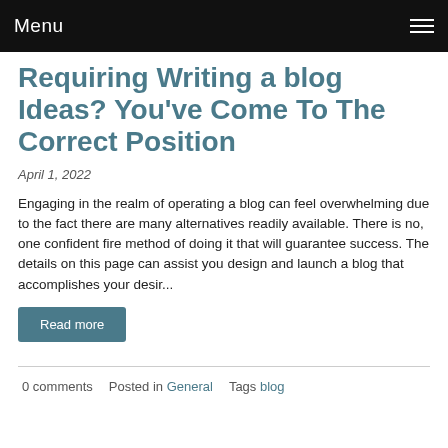Menu
Requiring Writing a blog Ideas? You've Come To The Correct Position
April 1, 2022
Engaging in the realm of operating a blog can feel overwhelming due to the fact there are many alternatives readily available. There is no, one confident fire method of doing it that will guarantee success. The details on this page can assist you design and launch a blog that accomplishes your desir...
Read more
0 comments   Posted in General   Tags blog